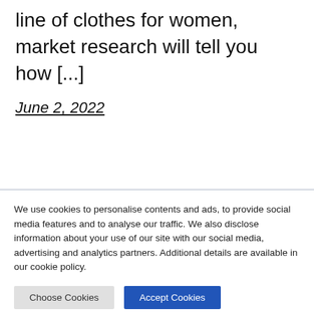line of clothes for women, market research will tell you how [...]
June 2, 2022
We use cookies to personalise contents and ads, to provide social media features and to analyse our traffic. We also disclose information about your use of our site with our social media, advertising and analytics partners. Additional details are available in our cookie policy.
Choose Cookies
Accept Cookies